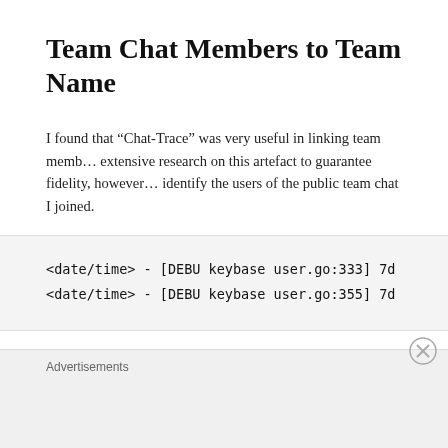Team Chat Members to Team Name
I found that “Chat-Trace” was very useful in linking team members. I did extensive research on this artefact to guarantee fidelity, however it was enough to identify the users of the public team chat I joined.
<date/time> - [DEBU keybase user.go:333] 7d
<date/time> - [DEBU keybase user.go:355] 7d
Once you have a chat-trace you can use that to pivot either to or
Advertisements